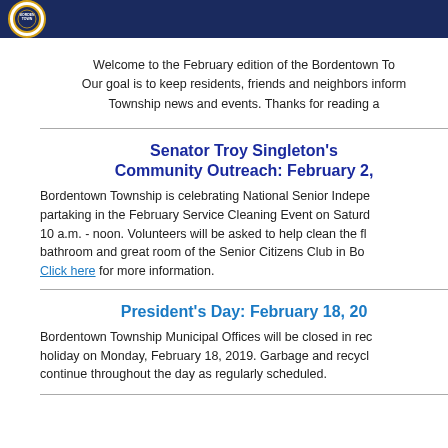Bordentown Township Newsletter Header
Welcome to the February edition of the Bordentown Township newsletter. Our goal is to keep residents, friends and neighbors informed about Township news and events. Thanks for reading a
Senator Troy Singleton's Community Outreach: February 2,
Bordentown Township is celebrating National Senior Independence partaking in the February Service Cleaning Event on Saturday 10 a.m. - noon. Volunteers will be asked to help clean the fl bathroom and great room of the Senior Citizens Club in Bo Click here for more information.
President's Day: February 18, 20
Bordentown Township Municipal Offices will be closed in recognition of the holiday on Monday, February 18, 2019. Garbage and recycling will continue throughout the day as regularly scheduled.